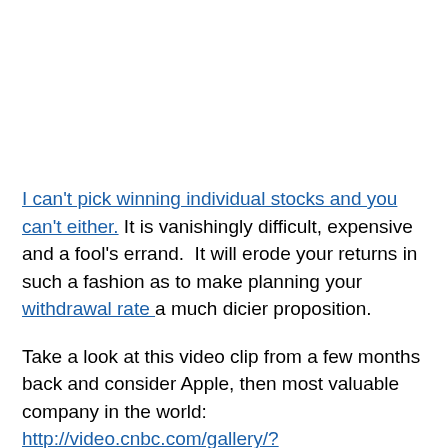I can't pick winning individual stocks and you can't either. It is vanishingly difficult, expensive and a fool's errand.  It will erode your returns in such a fashion as to make planning your withdrawal rate a much dicier proposition.
Take a look at this video clip from a few months back and consider Apple, then most valuable company in the world:  http://video.cnbc.com/gallery/?video=3000116834&play=1